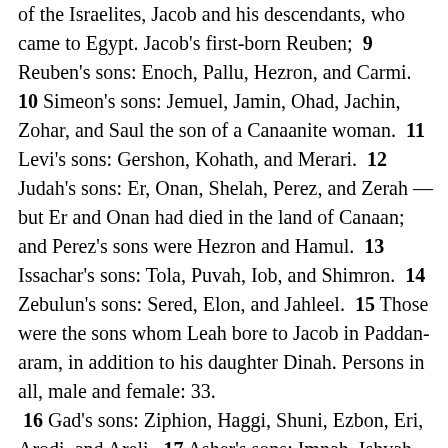of the Israelites, Jacob and his descendants, who came to Egypt. Jacob's first-born Reuben; 9 Reuben's sons: Enoch, Pallu, Hezron, and Carmi. 10 Simeon's sons: Jemuel, Jamin, Ohad, Jachin, Zohar, and Saul the son of a Canaanite woman. 11 Levi's sons: Gershon, Kohath, and Merari. 12 Judah's sons: Er, Onan, Shelah, Perez, and Zerah — but Er and Onan had died in the land of Canaan; and Perez's sons were Hezron and Hamul. 13 Issachar's sons: Tola, Puvah, Iob, and Shimron. 14 Zebulun's sons: Sered, Elon, and Jahleel. 15 Those were the sons whom Leah bore to Jacob in Paddan-aram, in addition to his daughter Dinah. Persons in all, male and female: 33. 16 Gad's sons: Ziphion, Haggi, Shuni, Ezbon, Eri, Arodi, and Areli. 17 Asher's sons: Imnah, Ishvah, Ishvi, and Beriah, and their sister Serah. Beriah's sons: Heber and Malchiel. 18 These were the descendants of Zilpah, whom Laban had given to his daughter Leah. These she bore to Jacob — 16 persons. 19 The sons of Jacob's wife Rachel were Joseph and Benjamin. 20 To Joseph were born in the